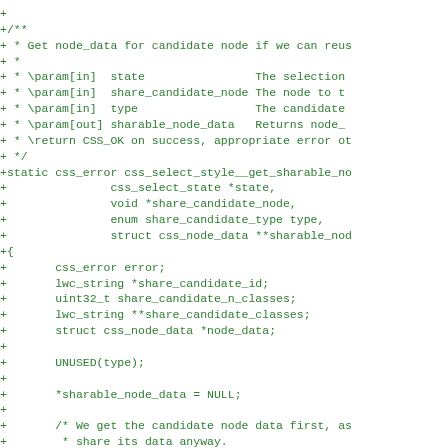[Figure (screenshot): A code diff snippet showing addition of a C function css_select_style__get_sharable_node_data with documentation comments and function body including variable declarations and initial statements. All lines are prefixed with '+' indicating added lines in green text on white background.]